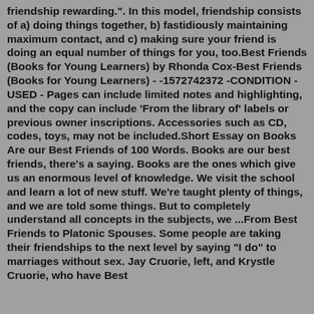friendship rewarding.". In this model, friendship consists of a) doing things together, b) fastidiously maintaining maximum contact, and c) making sure your friend is doing an equal number of things for you, too.Best Friends (Books for Young Learners) by Rhonda Cox-Best Friends (Books for Young Learners) - -1572742372 -CONDITION - USED - Pages can include limited notes and highlighting, and the copy can include 'From the library of' labels or previous owner inscriptions. Accessories such as CD, codes, toys, may not be included.Short Essay on Books Are our Best Friends of 100 Words. Books are our best friends, there's a saying. Books are the ones which give us an enormous level of knowledge. We visit the school and learn a lot of new stuff. We're taught plenty of things, and we are told some things. But to completely understand all concepts in the subjects, we ...From Best Friends to Platonic Spouses. Some people are taking their friendships to the next level by saying "I do" to marriages without sex. Jay Cruorie, left, and Krystle Cruorie, who have Best